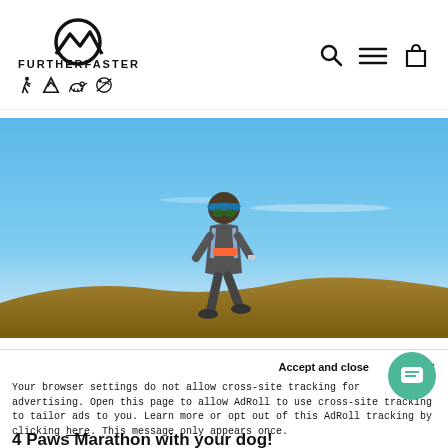[Figure (logo): FurtherFaster logo: circular mountain/wave icon above bold text FURTHERFASTER with small icons for hiking, mountain, dog, and leash]
[Figure (photo): A man wearing a visor, sunglasses, and a hydration pack running outdoors against a bright blue sky with a brown hillside in the background]
Accept and close ×
Your browser settings do not allow cross-site tracking for advertising. Open this page to allow AdRoll to use cross-site tracking to tailor ads to you. Learn more or opt out of this AdRoll tracking by clicking here. This message only appears once.
4 Paws Marathon with your dog!